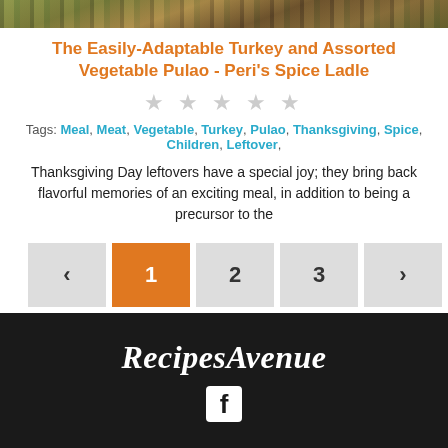[Figure (photo): Food photo showing turkey and vegetable pulao dish at top of page]
The Easily-Adaptable Turkey and Assorted Vegetable Pulao - Peri's Spice Ladle
★★★★★ (star rating, all empty/grey)
Tags: Meal, Meat, Vegetable, Turkey, Pulao, Thanksgiving, Spice, Children, Leftover,
Thanksgiving Day leftovers have a special joy; they bring back flavorful memories of an exciting meal, in addition to being a precursor to the
< 1 2 3 > (pagination)
RecipesAvenue